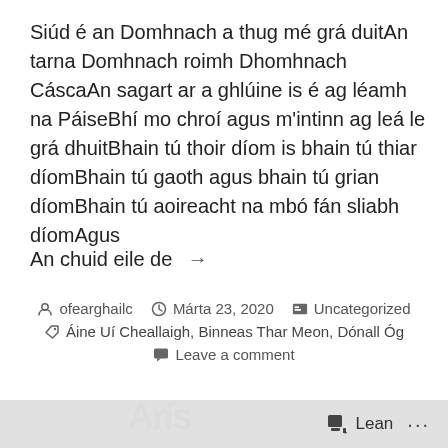Siúd é an Domhnach a thug mé grá duitAn tarna Domhnach roimh Dhomhnach CáscaAn sagart ar a ghlúine is é ag léamh na PáiseBhí mo chroí agus m'intinn ag leá le grá dhuitBhain tú thoir díom is bhain tú thiar díomBhain tú gaoth agus bhain tú grian díomBhain tú aoireacht na mbó fán sliabh díomAgus
An chuid eile de →
ofearghailc   Márta 23, 2020   Uncategorized   Áine Uí Cheallaigh, Binneas Thar Meon, Dónall Óg   Leave a comment